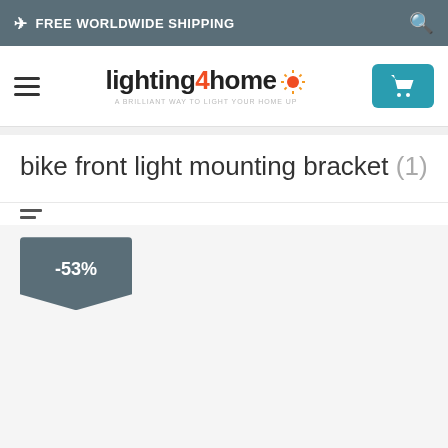FREE WORLDWIDE SHIPPING
[Figure (logo): lighting4home logo with sun icon and tagline 'A BRILLIANT WAY TO LIGHT YOUR HOME UP']
bike front light mounting bracket (1)
[Figure (infographic): Discount badge showing -53%]